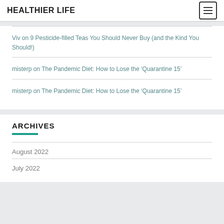HEALTHIER LIFE
Viv on 9 Pesticide-filled Teas You Should Never Buy (and the Kind You Should!)
misterp on The Pandemic Diet: How to Lose the ‘Quarantine 15’
misterp on The Pandemic Diet: How to Lose the ‘Quarantine 15’
ARCHIVES
August 2022
July 2022